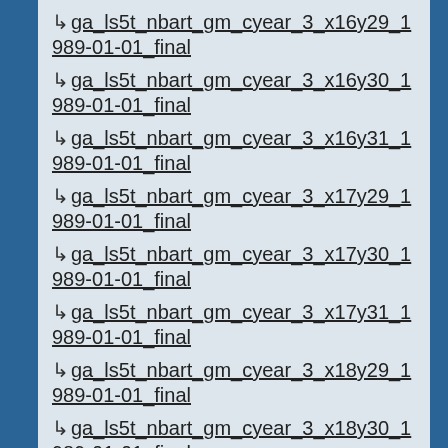↳ ga_ls5t_nbart_gm_cyear_3_x16y29_1989-01-01_final
↳ ga_ls5t_nbart_gm_cyear_3_x16y30_1989-01-01_final
↳ ga_ls5t_nbart_gm_cyear_3_x16y31_1989-01-01_final
↳ ga_ls5t_nbart_gm_cyear_3_x17y29_1989-01-01_final
↳ ga_ls5t_nbart_gm_cyear_3_x17y30_1989-01-01_final
↳ ga_ls5t_nbart_gm_cyear_3_x17y31_1989-01-01_final
↳ ga_ls5t_nbart_gm_cyear_3_x18y29_1989-01-01_final
↳ ga_ls5t_nbart_gm_cyear_3_x18y30_1989-01-01_final
↳ ga_ls5t_nbart_gm_cyear_3_x18y31_1989-01-01_final
↳ ga_ls_fc_3_110076_1989-08-19_final